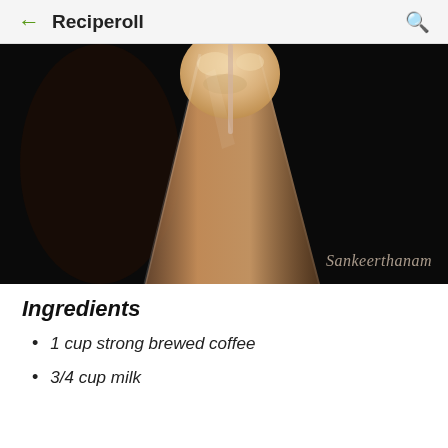Reciperoll
[Figure (photo): Close-up photo of a tall glass containing a coffee milkshake or cold coffee drink with frothy cream on top, set against a dark black background. Watermark reads 'Sankeerthanam'.]
Ingredients
1 cup strong brewed coffee
3/4 cup milk